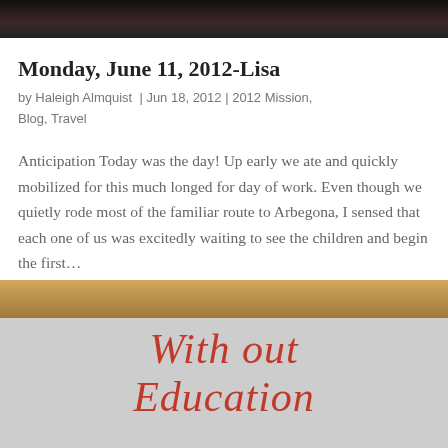[Figure (photo): Partial view of a group photo at the top of the page, dark toned image cropped at the top]
Monday, June 11, 2012-Lisa
by Haleigh Almquist  |  Jun 18, 2012  |  2012 Mission, Blog, Travel
Anticipation Today was the day!  Up early we ate and quickly mobilized for this much longed for day of work.  Even though we quietly rode most of the familiar route to Arbegona, I sensed that each one of us was excitedly waiting to see the children and begin the first…
[Figure (photo): A handwritten sign on paper attached to a wooden board reading 'With out Education' in red letters, partially cropped at the bottom]